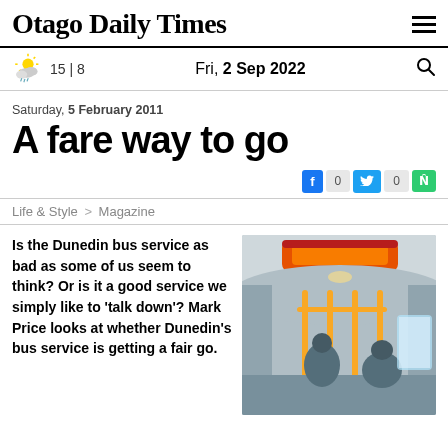Otago Daily Times
15 | 8   Fri, 2 Sep 2022
Saturday, 5 February 2011
A fare way to go
Life & Style > Magazine
Is the Dunedin bus service as bad as some of us seem to think? Or is it a good service we simply like to 'talk down'? Mark Price looks at whether Dunedin's bus service is getting a fair go.
[Figure (photo): Interior view of a bus looking forward, showing the ceiling, yellow handrails, and passengers in the background]